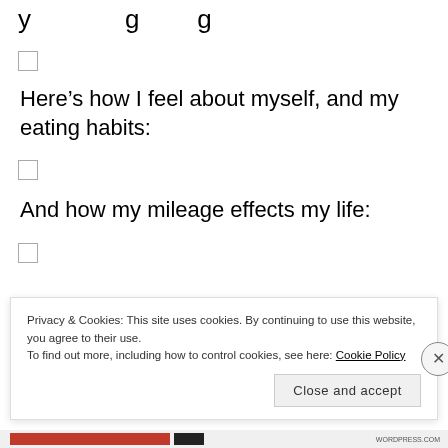y...g...g...
☐
Here’s how I feel about myself, and my eating habits:
☐
And how my mileage effects my life:
☐
Share this:
Privacy & Cookies: This site uses cookies. By continuing to use this website, you agree to their use.
To find out more, including how to control cookies, see here: Cookie Policy
Close and accept